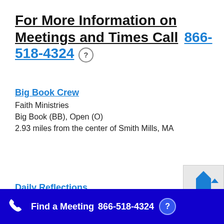For More Information on Meetings and Times Call 866-518-4324
Big Book Crew
Faith Ministries
Big Book (BB), Open (O)
2.93 miles from the center of Smith Mills, MA
Daily Reflections
Find a Meeting  866-518-4324